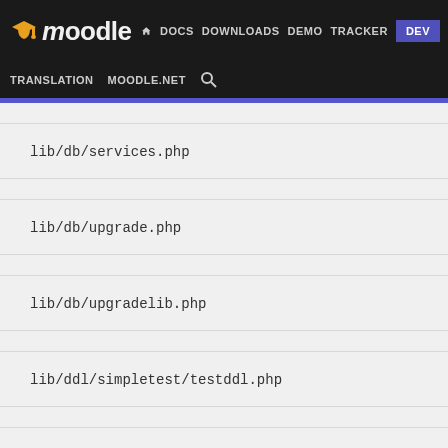moodle | DOCS DOWNLOADS DEMO TRACKER DEV | TRANSLATION MOODLE.NET
lib/db/services.php
lib/db/upgrade.php
lib/db/upgradelib.php
lib/ddl/simpletest/testddl.php
lib/dml/moodle_database.php